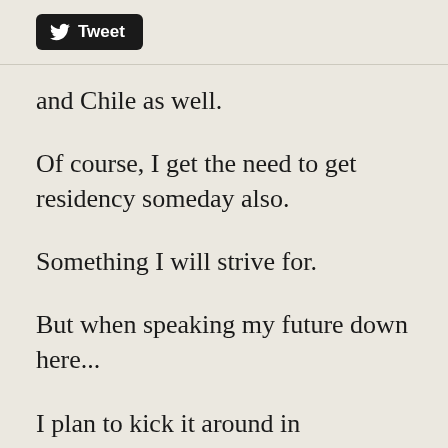[Figure (other): Twitter Tweet button with bird logo]
and Chile as well.
Of course, I get the need to get residency someday also.
Something I will strive for.
But when speaking my future down here...
I plan to kick it around in